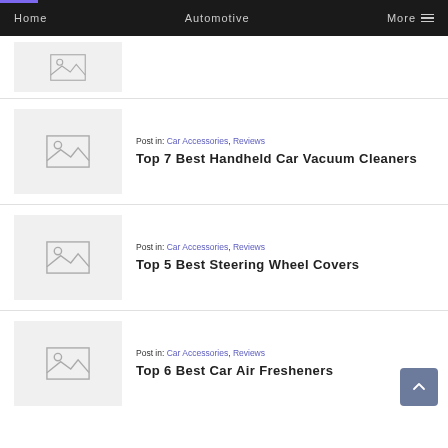Home  Automotive  More
[Figure (screenshot): Placeholder thumbnail image for article]
Post in: Car Accessories, Reviews
Top 7 Best Handheld Car Vacuum Cleaners
[Figure (screenshot): Placeholder thumbnail image for article]
Post in: Car Accessories, Reviews
Top 5 Best Steering Wheel Covers
[Figure (screenshot): Placeholder thumbnail image for article]
Post in: Car Accessories, Reviews
Top 6 Best Car Air Fresheners